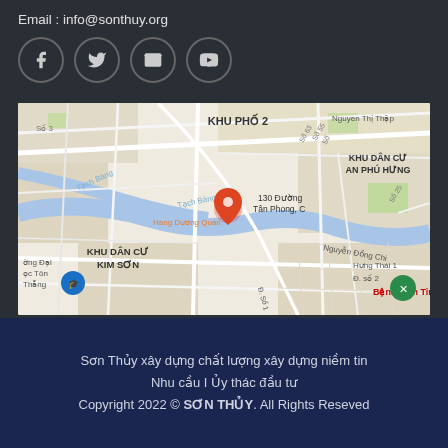Email : info@sonthuy.org
[Figure (infographic): Social media icons: Facebook, Twitter, Email, YouTube — each in a circle]
[Figure (map): Google Maps screenshot showing location at 130 Duong Tan Phong, with surrounding areas KHU DAN CU KIM SON, KHU PHO 2, KHU DAN CU AN PHU HUNG, Benh vien Tim, Nguyen Dong Chi, Hung Thai 1]
Son Thuy xay dung chat luong xay dung niem tin
Nhu cau I Uy thac dau tu
Copyright 2022 © SON THUY. All Rights Reseved